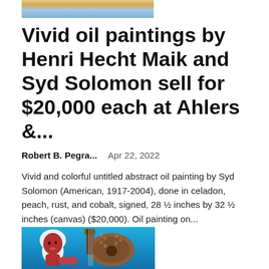[Figure (photo): Top portion of a painting image, partially cropped at the top of the page]
Vivid oil paintings by Henri Hecht Maik and Syd Solomon sell for $20,000 each at Ahlers &...
Robert B. Pegra...   Apr 22, 2022
Vivid and colorful untitled abstract oil painting by Syd Solomon (American, 1917-2004), done in celadon, peach, rust, and cobalt, signed, 28 ½ inches by 32 ½ inches (canvas) ($20,000). Oil painting on...
[Figure (photo): A colorful painting showing a woman with a guitar on a bright blue background]